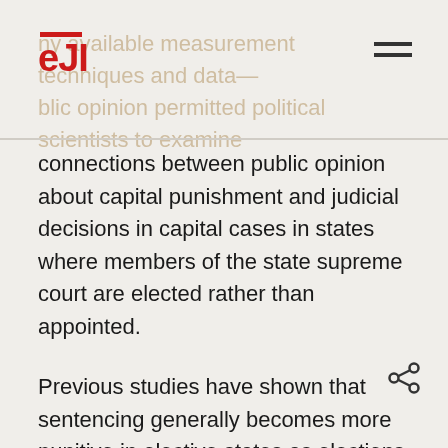eji
ny available measurement techniques and data public opinion permitted political scientists to examine connections between public opinion about capital punishment and judicial decisions in capital cases in states where members of the state supreme court are elected rather than appointed.

Previous studies have shown that sentencing generally becomes more punitive in elective states as elections near, even where they are nonpartisan retention elections that receive little attention from the public. Noting that a new style of judicial campaigning recently has emerged, in which candidates engage in heated races and seek to capture more attention by focusing on the public's general fear of crime and support for capital punishment, the authors hypothesized that judges' decisions in death penalty cases would be affected by public opinion in elective